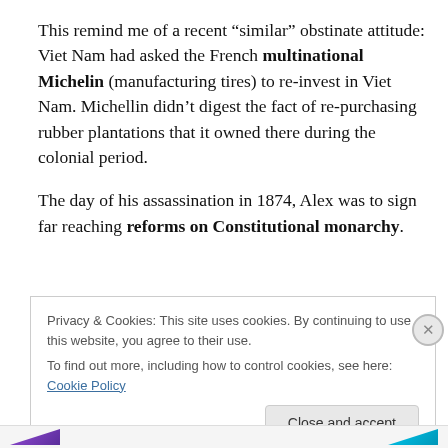This remind me of a recent “similar” obstinate attitude: Viet Nam had asked the French multinational Michelin (manufacturing tires) to re-invest in Viet Nam. Michellin didn’t digest the fact of re-purchasing rubber plantations that it owned there during the colonial period.
The day of his assassination in 1874, Alex was to sign far reaching reforms on Constitutional monarchy.
Privacy & Cookies: This site uses cookies. By continuing to use this website, you agree to their use.
To find out more, including how to control cookies, see here: Cookie Policy
Close and accept